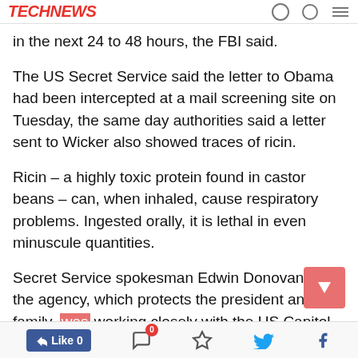TechNews
in the next 24 to 48 hours, the FBI said.
The US Secret Service said the letter to Obama had been intercepted at a mail screening site on Tuesday, the same day authorities said a letter sent to Wicker also showed traces of ricin.
Ricin – a highly toxic protein found in castor beans – can, when inhaled, cause respiratory problems. Ingested orally, it is lethal in even minuscule quantities.
Secret Service spokesman Edwin Donovan said the agency, which protects the president and his family, was working closely with the US Capitol Police and the FBI to trace the origins of the letter.
A filter at a second mail facility had tested positive for ricin, according to the FBI, which…
Like 0  [comments] [layers] [twitter] [facebook]